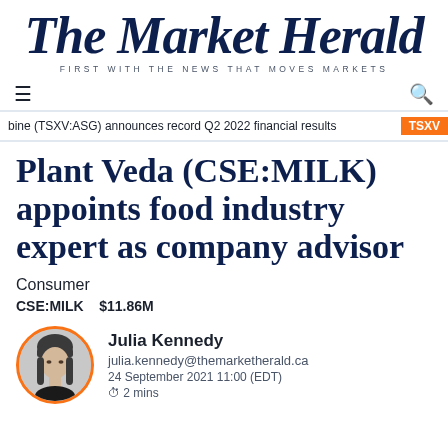The Market Herald — FIRST WITH THE NEWS THAT MOVES MARKETS
bine (TSXV:ASG) announces record Q2 2022 financial results
Plant Veda (CSE:MILK) appoints food industry expert as company advisor
Consumer
CSE:MILK   $11.86M
[Figure (photo): Black and white circular portrait photo of Julia Kennedy, a woman with bangs and long hair, wearing a dark top. Photo has an orange circular border.]
Julia Kennedy
julia.kennedy@themarketherald.ca
24 September 2021 11:00 (EDT)
⏱ 2 mins